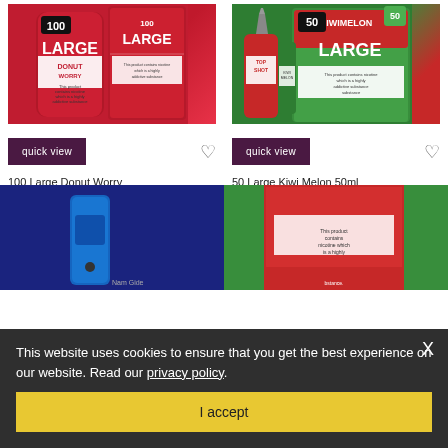[Figure (photo): Product image of 100 Large Donut Worry e-liquid in a red can with nicotine warning label]
[Figure (photo): Product image of 50 Large Kiwi Melon 50ml e-liquid in green and red packaging with nicotine warning label]
quick view
quick view
100 Large Donut Worry
£16.99
50 Large Kiwi Melon 50ml
£9.99
[Figure (photo): Partially visible product photos at the bottom of the page (vape device and e-liquid packaging), partially obscured by cookie banner]
This website uses cookies to ensure that you get the best experience on our website. Read our privacy policy.
I accept